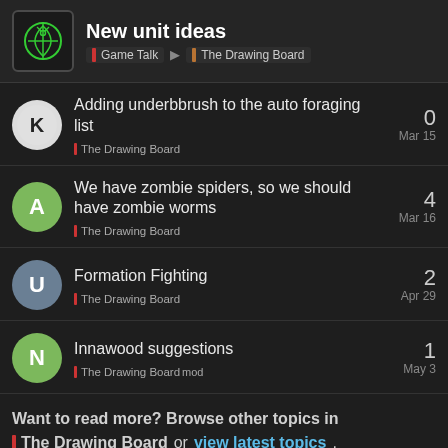New unit ideas | Game Talk > The Drawing Board
Adding underbbrush to the auto foraging list | The Drawing Board | Mar 15 | 0 replies
We have zombie spiders, so we should have zombie worms | The Drawing Board | Mar 16 | 4 replies
Formation Fighting | The Drawing Board | Apr 29 | 2 replies
Innawood suggestions | The Drawing Board mod | May 3 | 1 reply
Want to read more? Browse other topics in The Drawing Board or view latest topics.